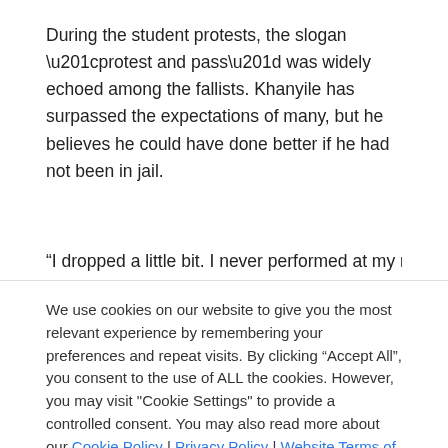During the student protests, the slogan “protest and pass” was widely echoed among the fallists. Khanyile has surpassed the expectations of many, but he believes he could have done better if he had not been in jail.
“I dropped a little bit. I never performed at my normal
We use cookies on our website to give you the most relevant experience by remembering your preferences and repeat visits. By clicking “Accept All”, you consent to the use of ALL the cookies. However, you may visit "Cookie Settings" to provide a controlled consent. You may also read more about our Cookie Policy | Privacy Policy | Website Terms of Use